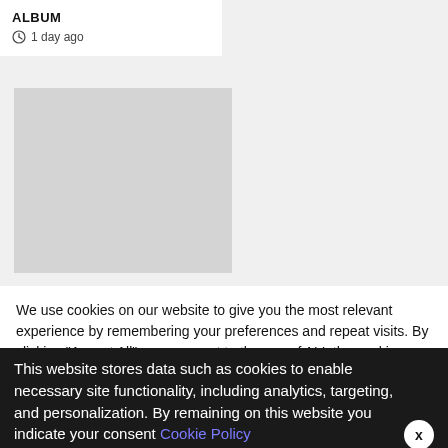ALBUM
1 day ago
[Figure (photo): Light grey placeholder thumbnail image]
We use cookies on our website to give you the most relevant experience by remembering your preferences and repeat visits. By clicking "Accept All", you consent to the use of ALL the cookies. However, you may visit "Cookie Settings" to provide a controlled consent.
This website stores data such as cookies to enable necessary site functionality, including analytics, targeting, and personalization. By remaining on this website you indicate your consent Cookie Policy